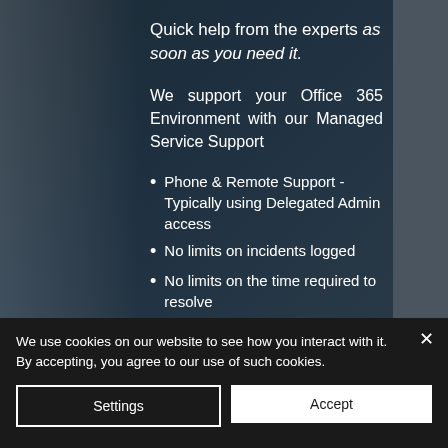Quick help from the experts as soon as you need it.
We support your Office 365 Environment with our Managed Service Support
Phone & Remote Support - Typically using Delegated Admin access
No limits on incidents logged
No limits on the time required to resolve
Microsoft Certified Office 365 Professionals for Troubleshooting
We use cookies on our website to see how you interact with it. By accepting, you agree to our use of such cookies.
Settings
Accept